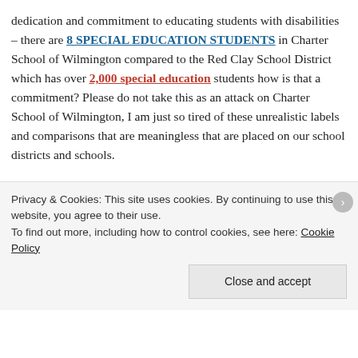dedication and commitment to educating students with disabilities – there are 8 SPECIAL EDUCATION STUDENTS in Charter School of Wilmington compared to the Red Clay School District which has over 2,000 special education students how is that a commitment? Please do not take this as an attack on Charter School of Wilmington, I am just so tired of these unrealistic labels and comparisons that are meaningless that are placed on our school districts and schools.

I was looking through the various letters and I noticed Delaware Military Academy received a 60% scored 6 out
Privacy & Cookies: This site uses cookies. By continuing to use this website, you agree to their use.
To find out more, including how to control cookies, see here: Cookie Policy